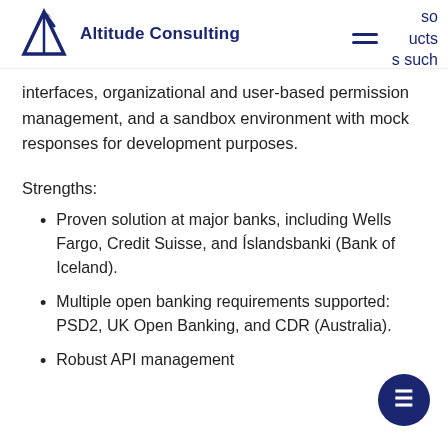Altitude Consulting
interfaces, organizational and user-based permission management, and a sandbox environment with mock responses for development purposes.
Strengths:
Proven solution at major banks, including Wells Fargo, Credit Suisse, and Íslandsbanki (Bank of Iceland).
Multiple open banking requirements supported: PSD2, UK Open Banking, and CDR (Australia).
Robust API management